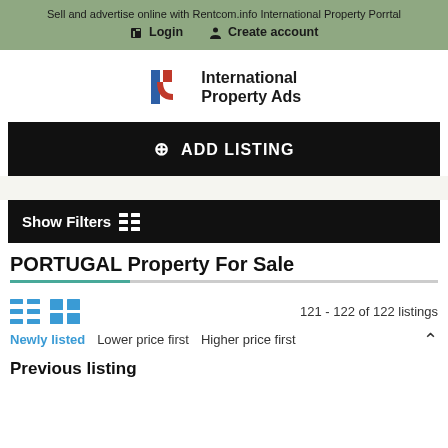Sell and advertise online with Rentcom.info International Property Porrtal
Login   Create account
[Figure (logo): International Property Ads logo with stylized 'iR' letters in blue and red]
ADD LISTING
Show Filters
PORTUGAL Property For Sale
121 - 122 of 122 listings
Newly listed   Lower price first   Higher price first
Previous listing